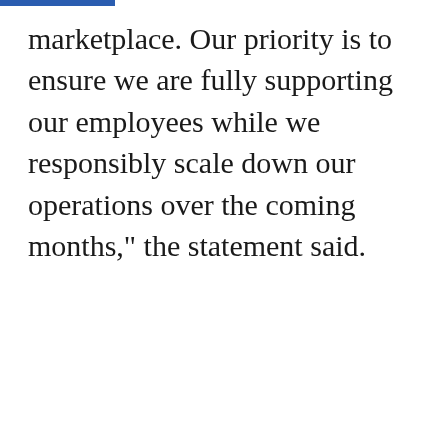marketplace. Our priority is to ensure we are fully supporting our employees while we responsibly scale down our operations over the coming months," the statement said.